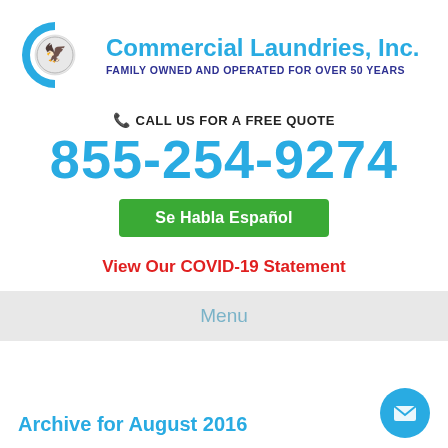[Figure (logo): Commercial Laundries Inc. logo: blue C shape with eagle seal medallion, company name in blue, tagline in dark blue]
📞 CALL US FOR A FREE QUOTE
855-254-9274
Se Habla Español
View Our COVID-19 Statement
Menu
Archive for August 2016